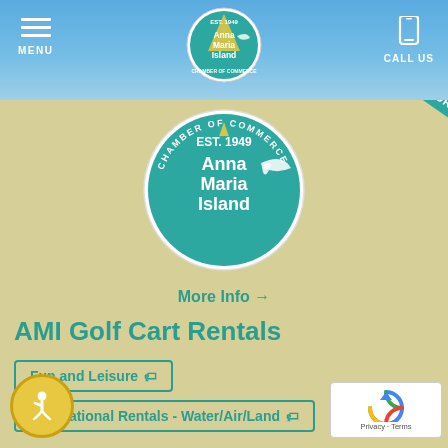MENU | Anna Maria Island Chamber of Commerce | CALL US
[Figure (logo): Anna Maria Island Chamber of Commerce circular logo with dolphin and EST. 1949 text - small version in header]
[Figure (logo): Anna Maria Island Chamber of Commerce circular logo with dolphin and EST. 1949 text - large version in content area]
More Info →
AMI Golf Cart Rentals
Fun and Leisure 🏷
Recreational Rentals - Water/Air/Land 🏷
AMI Golf Cart Rentals proudly offers the best golf rentals on the island with along with unparalleled customer service. Visit our website to learn more and